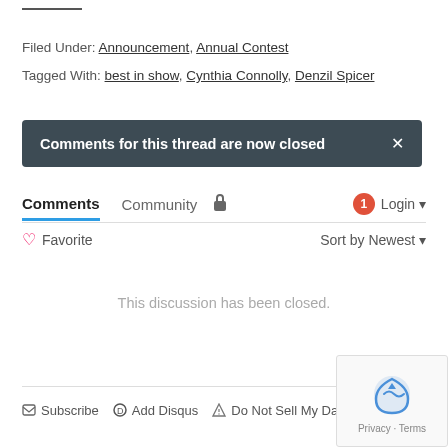Filed Under: Announcement, Annual Contest
Tagged With: best in show, Cynthia Connolly, Denzil Spicer
Comments for this thread are now closed
Comments  Community  🔒  🔴1  Login ▾
♡ Favorite   Sort by Newest ▾
This discussion has been closed.
✉ Subscribe  Ⓓ Add Disqus  ⚠ Do Not Sell My Data   DISQUS | Privacy · Terms